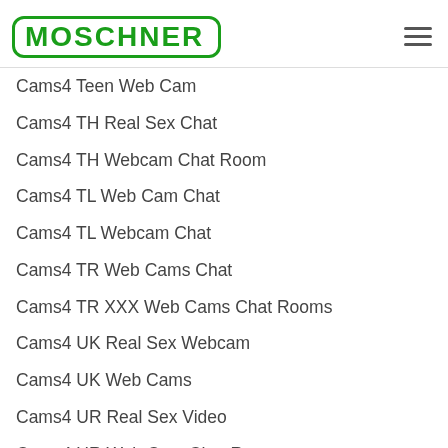MOSCHNER
Cams4 Teen Web Cam
Cams4 TH Real Sex Chat
Cams4 TH Webcam Chat Room
Cams4 TL Web Cam Chat
Cams4 TL Webcam Chat
Cams4 TR Web Cams Chat
Cams4 TR XXX Web Cams Chat Rooms
Cams4 UK Real Sex Webcam
Cams4 UK Web Cams
Cams4 UR Real Sex Video
Cams4 UR Web Cam Chat Room
Cams4 VI Web Cam Chat Room